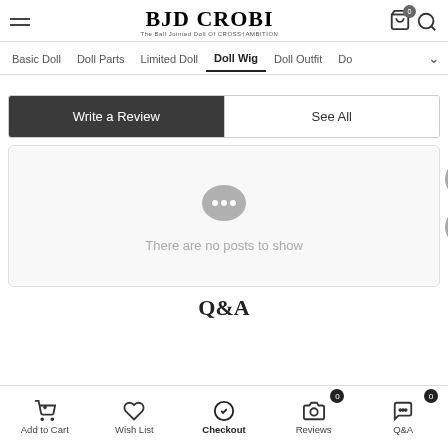BJD CROBI - The Ball Jointed Doll Of CROSS†AMBITION
Basic Doll | Doll Parts | Limited Doll | Doll Wig | Doll Outfit | Do
REVIEW
Write a Review
See All
[Figure (illustration): Speech bubble icon with three dots indicating no posts]
There are no posts to show
Q&A
Add to Cart | Wish List | Checkout | Reviews 0 | Q&A 0